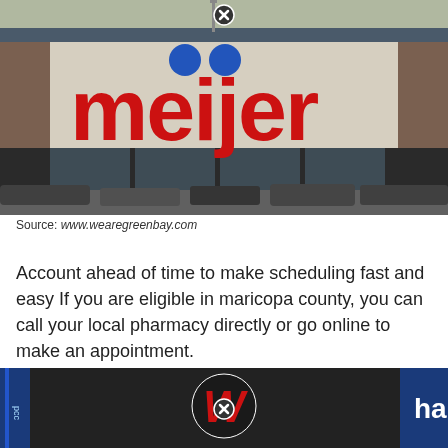[Figure (photo): Meijer store exterior showing the large red 'meijer' sign with two blue dots above it, brick facade and parking lot in the foreground]
Source: www.wearegreenbay.com
Account ahead of time to make scheduling fast and easy If you are eligible in maricopa county, you can call your local pharmacy directly or go online to make an appointment.
[Figure (photo): Walgreens store exterior showing the Walgreens logo/sign partially visible at the bottom of the page]